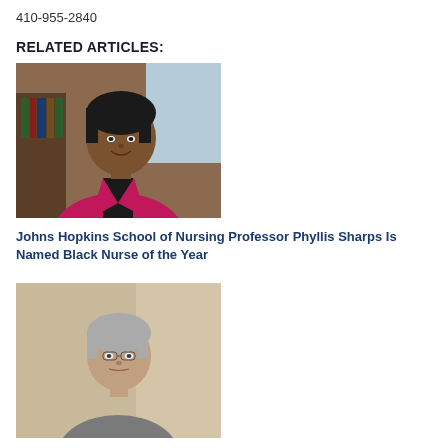410-955-2840
RELATED ARTICLES:
[Figure (photo): Portrait of Professor Phyllis Sharps, a woman in a pink blazer, smiling, in a library setting]
Johns Hopkins School of Nursing Professor Phyllis Sharps Is Named Black Nurse of the Year
[Figure (photo): Portrait of Nancy Glass, a woman with short grey hair, wearing a grey jacket, in an indoor setting]
Johns Hopkins School of Nursing Researcher Nancy Glass Recognized for International Achievement